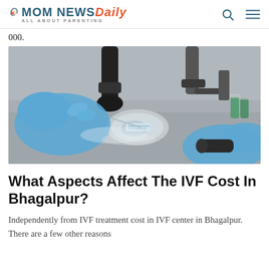MOM NEWS Daily — ALL ABOUT PARENTING
000.
[Figure (photo): Lab technician wearing blue gloves working with microscope and petri dish in IVF laboratory setting]
What Aspects Affect The IVF Cost In Bhagalpur?
Independently from IVF treatment cost in IVF center in Bhagalpur. There are a few other reasons